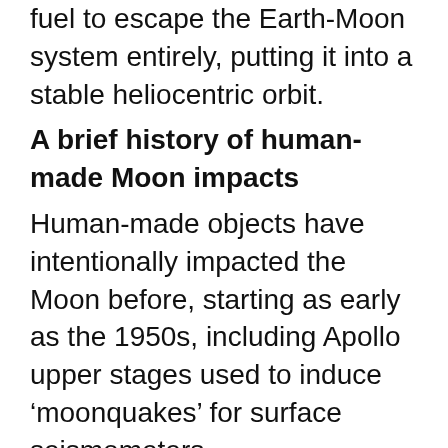fuel to escape the Earth-Moon system entirely, putting it into a stable heliocentric orbit.
A brief history of human-made Moon impacts
Human-made objects have intentionally impacted the Moon before, starting as early as the 1950s, including Apollo upper stages used to induce ‘moonquakes’ for surface seismometers.
In 2009 NASA crashed its LCROSS mission into the Moon, revealing water in the resulting debris plume, with the LADEE spacecraft doing the same on the lunar farside in 2013. ESA's Smart-1 spacecraft was crashed into the Moon in 2006, the subject of a worldwide observing campaign.